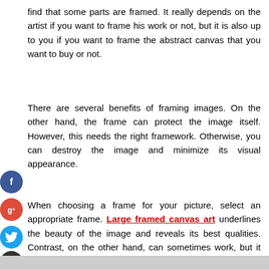find that some parts are framed. It really depends on the artist if you want to frame his work or not, but it is also up to you if you want to frame the abstract canvas that you want to buy or not.
There are several benefits of framing images. On the other hand, the frame can protect the image itself. However, this needs the right framework. Otherwise, you can destroy the image and minimize its visual appearance.
When choosing a frame for your picture, select an appropriate frame. Large framed canvas art underlines the beauty of the image and reveals its best qualities. Contrast, on the other hand, can sometimes work, but it can also distract you from the image.
[Figure (other): Gray bar at bottom of page]
[Figure (other): Facebook social share button (blue circle with f)]
[Figure (other): Google+ social share button (red circle with g+)]
[Figure (other): Twitter social share button (blue circle with bird)]
[Figure (other): Add/share button (dark circle with +)]